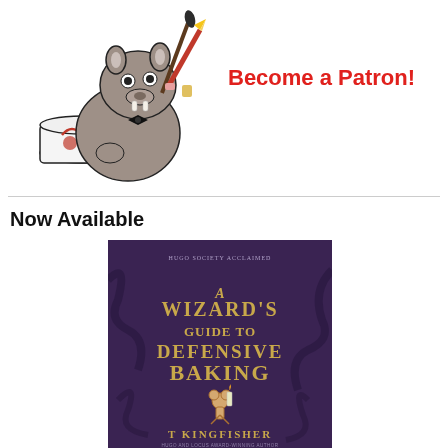[Figure (illustration): Cartoon wombat/badger mascot holding a paintbrush and pencil, sitting next to a coffee mug with a red design on it]
Become a Patron!
Now Available
[Figure (photo): Book cover of 'A Wizard's Guide to Defensive Baking' by T Kingfisher, purple background with gold decorative text and a gingerbread man illustration]